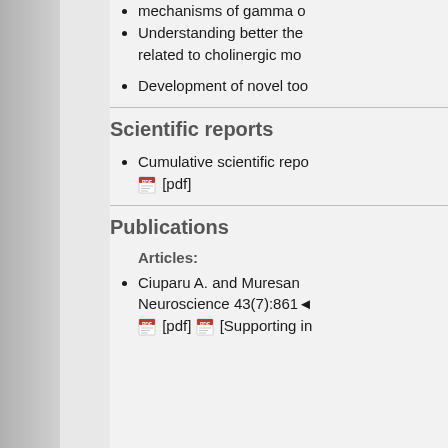mechanisms of gamma o
Understanding better the related to cholinergic mo
Development of novel too
Scientific reports
Cumulative scientific repo [pdf]
Publications
Articles:
Ciuparu A. and Muresan Neuroscience 43(7):861 [pdf] [Supporting in